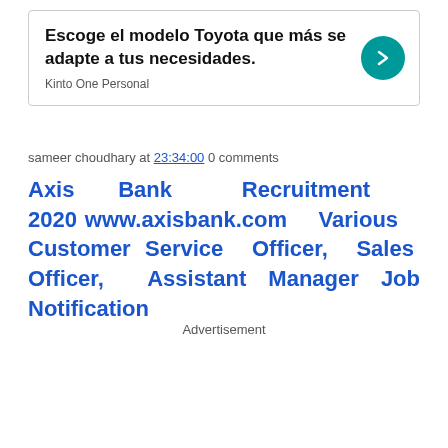[Figure (other): Advertisement banner for Toyota Kinto One Personal with teal arrow button. Text: 'Escoge el modelo Toyota que más se adapte a tus necesidades.' and 'Kinto One Personal']
sameer choudhary at 23:34:00 0 comments
Axis Bank Recruitment 2020 www.axisbank.com Various Customer Service Officer, Sales Officer, Assistant Manager Job Notification
Advertisement